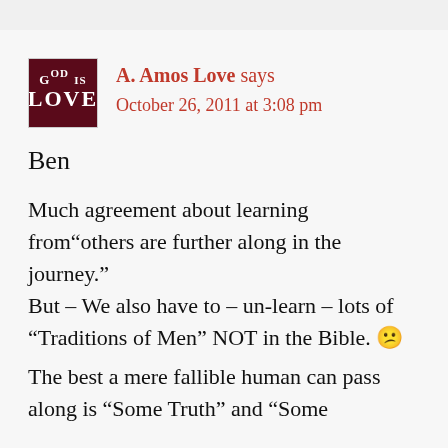A. Amos Love says
October 26, 2011 at 3:08 pm
Ben
Much agreement about learning from“others are further along in the journey.”
But – We also have to – un-learn – lots of “Traditions of Men” NOT in the Bible. 😟
The best a mere fallible human can pass along is “Some Truth” and “Some